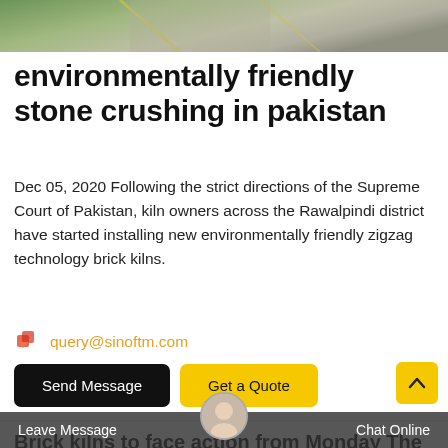[Figure (photo): Aerial/satellite view of land with roads, green fields and gray surfaces]
environmentally friendly stone crushing in pakistan
Dec 05, 2020 Following the strict directions of the Supreme Court of Pakistan, kiln owners across the Rawalpindi district have started installing new environmentally friendly zigzag technology brick kilns.
query@sinoftm.com
Send Message  Get a Quote
Brick kilns to face action from Monday The Express Tribune
Jan 03, 2021 Following the strict directions of the Supreme Court of Pakistan, kiln owners across the
Leave Message   Chat Online